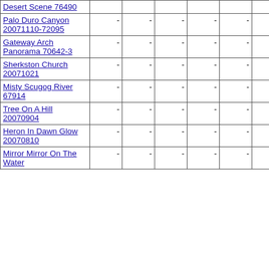| Name |  |  |  |  |  |  |  |
| --- | --- | --- | --- | --- | --- | --- | --- |
| Desert Scene 76490 | - | - | - | - | - | - |  |
| Palo Duro Canyon 20071110-72095 | - | - | - | - | - | - |  |
| Gateway Arch Panorama 70642-3 | - | - | - | - | - | - |  |
| Sherkston Church 20071021 | - | - | - | - | - | - |  |
| Misty Scugog River 67914 | - | - | - | - | - | - |  |
| Tree On A Hill 20070904 | - | - | - | - | - | - |  |
| Heron In Dawn Glow 20070810 | - | - | - | - | - | - |  |
| Mirror Mirror On The Water | - | - | - | - | - | - |  |